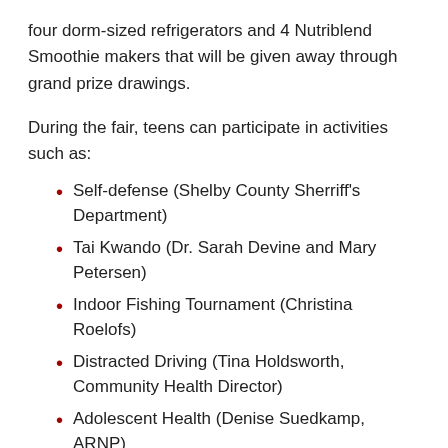four dorm-sized refrigerators and 4 Nutriblend Smoothie makers that will be given away through grand prize drawings.
During the fair, teens can participate in activities such as:
Self-defense (Shelby County Sherriff's Department)
Tai Kwando (Dr. Sarah Devine and Mary Petersen)
Indoor Fishing Tournament (Christina Roelofs)
Distracted Driving (Tina Holdsworth, Community Health Director)
Adolescent Health (Denise Suedkamp, ARNP)
Online Safety (Harlan Police Chief, Derrick Yamada)
Teens and parents will also receive information on:
ATV Safety (Myrtue Medical Center Emergency